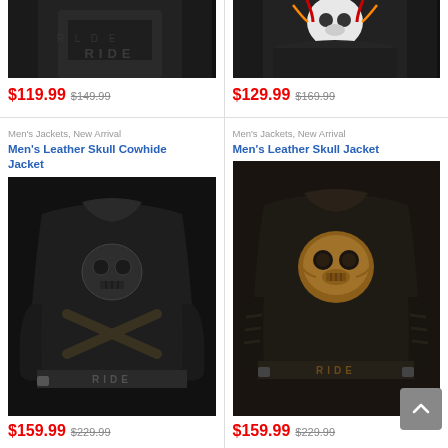[Figure (photo): Top portion of a black leather jacket with RIDE text embossed, cut off at top]
$119.99  $149.99
[Figure (photo): Top portion of a black jacket with skull and headdress graphic, cut off at top]
$129.99  $169.99
Men's Jackets, New Arrival
Men's Leather Skull Cowhide Jacket
[Figure (photo): Back view of black leather skull cowhide jacket with skull and crossbones embossed and RIDE text at bottom]
$159.99  $229.99
Men's Jackets, New Arrival
Men's Leather Skull Jacket
[Figure (photo): Back view of dark brown/black leather skull jacket with orange-brown skull graphic and RIDE text at bottom]
$159.99  $229.99